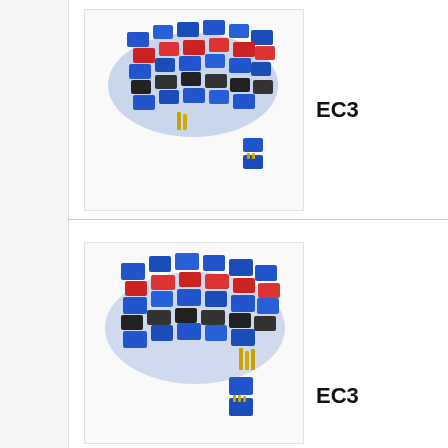[Figure (photo): Bulk pile of EC3 blue and red connectors with gold pins, showing a large quantity of connectors alongside a separated pair. First row product image.]
EC3
[Figure (photo): Bulk pile of EC3 connectors in blue, red, and black housing with gold terminals, with a separated connector pair shown below. Second row product image.]
EC3
[Figure (photo): Bulk pile of EC5 blue connectors with gold 5mm bullet pins, showing a separated pair in the foreground. Third row product image.]
EC5
[Figure (photo): Bulk pile of EC5 blue connectors similar to row above, partially visible at bottom of page. Fourth row product image.]